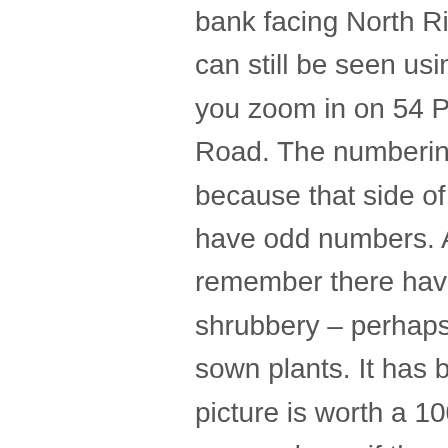bank facing North Ridge Road. This can still be seen using Google Maps if you zoom in on 54 Peter Mokaba Road. The numbering must be wrong, because that side of the road should have odd numbers. Also, I don't remember there having been any shrubbery – perhaps they are self-sown plants. It has been said that a picture is worth a 1000 words – does anyone know if there is an easy way to copy Google (Map) pictures? Or are they copyright? It would have been a lot more explanatory if I had simply been able to copy a picture of Portcullis accross to this site.
Church of the Nazarene – I see using Google Maps again that the entrance